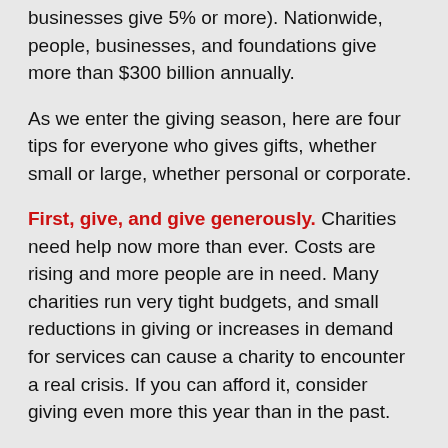businesses give 5% or more). Nationwide, people, businesses, and foundations give more than $300 billion annually.
As we enter the giving season, here are four tips for everyone who gives gifts, whether small or large, whether personal or corporate.
First, give, and give generously. Charities need help now more than ever. Costs are rising and more people are in need. Many charities run very tight budgets, and small reductions in giving or increases in demand for services can cause a charity to encounter a real crisis. If you can afford it, consider giving even more this year than in the past.
Second, budget your giving. You'll feel a lot better about considering a gift if you know that you have money set aside for giving. Whether it's a fixed dollar amount or a percentage of your income, setting a